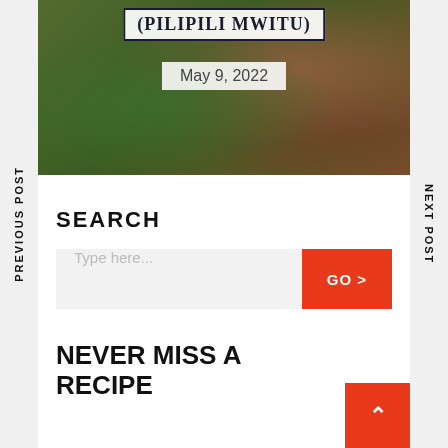[Figure (photo): Photo of green peppers/avocado held in hand, with overlay text '(PILIPILI MWITU)' and date 'May 9, 2022']
(PILIPILI MWITU)
May 9, 2022
SEARCH
Type here...
GO >
NEVER MISS A RECIPE
PREVIOUS POST
NEXT POST